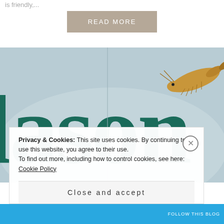is friendly,...
READ MORE
[Figure (photo): Close-up photo of a sign with large teal/dark green letters reading 'Mason' on a light grey/blue background, with a cartoon shrimp illustration in the upper right corner.]
Privacy & Cookies: This site uses cookies. By continuing to use this website, you agree to their use.
To find out more, including how to control cookies, see here: Cookie Policy
Close and accept